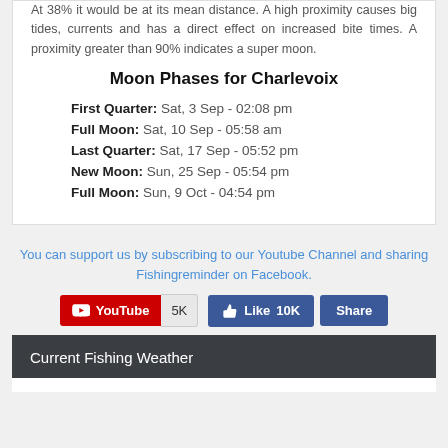At 38% it would be at its mean distance. A high proximity causes big tides, currents and has a direct effect on increased bite times. A proximity greater than 90% indicates a super moon.
Moon Phases for Charlevoix
First Quarter: Sat, 3 Sep - 02:08 pm
Full Moon: Sat, 10 Sep - 05:58 am
Last Quarter: Sat, 17 Sep - 05:52 pm
New Moon: Sun, 25 Sep - 05:54 pm
Full Moon: Sun, 9 Oct - 04:54 pm
You can support us by subscribing to our Youtube Channel and sharing Fishingreminder on Facebook.
[Figure (infographic): Social media buttons: YouTube with 5K subscribers, Facebook Like with 10K likes, and Facebook Share button]
Current Fishing Weather